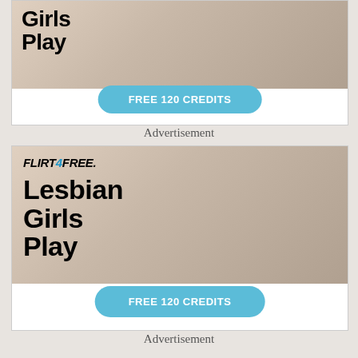[Figure (illustration): Top advertisement banner for Flirt4Free showing text 'Girls Play' with a blue button labeled 'FREE 120 CREDITS']
Advertisement
[Figure (illustration): Bottom advertisement banner for Flirt4Free with logo, text 'Lesbian Girls Play', two women, and a blue button labeled 'FREE 120 CREDITS']
Advertisement